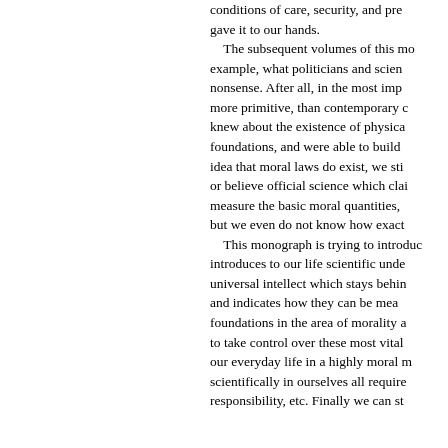conditions of care, security, and pre... gave it to our hands. The subsequent volumes of this mo... example, what politicians and scien... nonsense. After all, in the most imp... more primitive, than contemporary c... knew about the existence of physica... foundations, and were able to build ... idea that moral laws do exist, we sti... or believe official science which clai... measure the basic moral quantities, but we even do not know how exact... This monograph is trying to introduc... introduces to our life scientific unde... universal intellect which stays behin... and indicates how they can be mea... foundations in the area of morality a... to take control over these most vital... our everyday life in a highly moral m... scientifically in ourselves all require... responsibility, etc. Finally we can st...